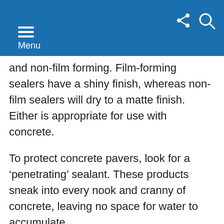Menu
and non-film forming. Film-forming sealers have a shiny finish, whereas non-film sealers will dry to a matte finish. Either is appropriate for use with concrete.
To protect concrete pavers, look for a ‘penetrating’ sealant. These products sneak into every nook and cranny of concrete, leaving no space for water to accumulate.
This is especially important for concrete pavers, because they are susceptible to expansion and contraction damage when the weather shifts. But penetrating sealants don’t stop there.